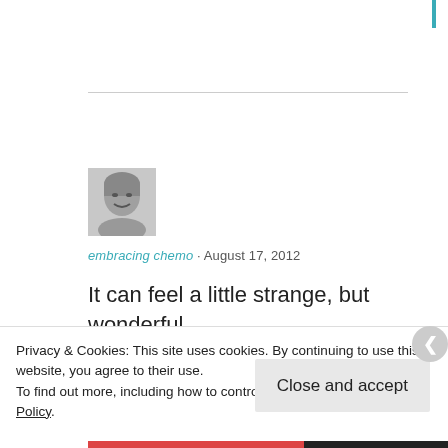[Figure (photo): Teal vertical accent bar in top-right corner]
[Figure (photo): Grayscale avatar photo of a smiling woman]
embracing chemo · August 17, 2012
It can feel a little strange, but wonderful, redefining your life once the daily grind of
Privacy & Cookies: This site uses cookies. By continuing to use this website, you agree to their use.
To find out more, including how to control cookies, see here: Cookie Policy
Close and accept